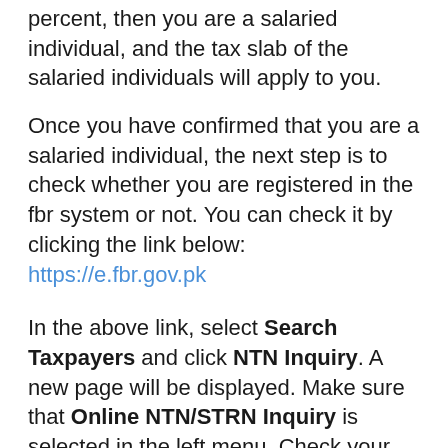percent, then you are a salaried individual, and the tax slab of the salaried individuals will apply to you.
Once you have confirmed that you are a salaried individual, the next step is to check whether you are registered in the fbr system or not. You can check it by clicking the link below: https://e.fbr.gov.pk
In the above link, select Search Taxpayers and click NTN Inquiry. A new page will be displayed. Make sure that Online NTN/STRN Inquiry is selected in the left menu. Check your status by selecting CNIC in Parameter Type